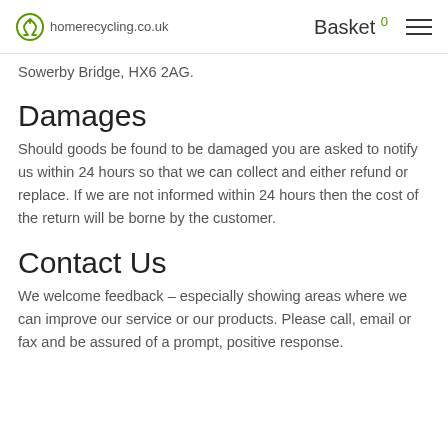homerecycling.co.uk  Basket 0
Sowerby Bridge, HX6 2AG.
Damages
Should goods be found to be damaged you are asked to notify us within 24 hours so that we can collect and either refund or replace. If we are not informed within 24 hours then the cost of the return will be borne by the customer.
Contact Us
We welcome feedback – especially showing areas where we can improve our service or our products. Please call, email or fax and be assured of a prompt, positive response.